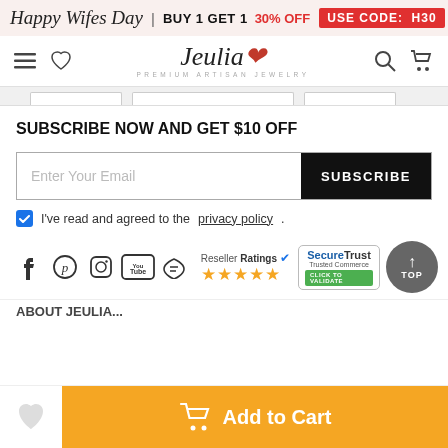Happy Wifes Day | BUY 1 GET 1 30% OFF USE CODE: H30
[Figure (logo): Jeulia Premium Artisan Jewelry logo with navigation icons]
SUBSCRIBE NOW AND GET $10 OFF
Enter Your Email  SUBSCRIBE
I've read and agreed to the privacy policy.
[Figure (infographic): Social media icons: Facebook, Pinterest, Instagram, YouTube, Bloglovin. ResellerRatings 5 stars badge. SecureTrust Trusted Commerce badge. Back to TOP button.]
ABOUT JEULIA
Add to Cart